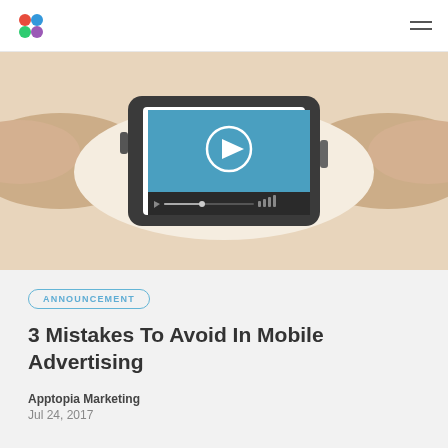Apptopia logo and navigation menu
[Figure (illustration): Illustration of a smartphone held horizontally showing a video player interface with a blue play button on screen, set against a warm beige background with stylized hand shapes]
ANNOUNCEMENT
3 Mistakes To Avoid In Mobile Advertising
Apptopia Marketing
Jul 24, 2017